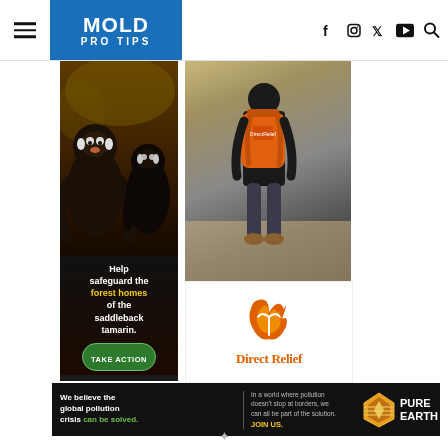MOLD PRO TIPS
[Figure (illustration): Advertisement for wildlife conservation featuring saddleback tamarins with text 'Help safeguard the forest homes of the saddleback tamarin.' and a green TAKE ACTION button]
[Figure (photo): Direct Relief advertisement showing a person walking away with an orange backpack/medical bag, with the Direct Relief logo below]
[Figure (illustration): Pure Earth banner advertisement: 'We believe the global pollution crisis can be solved.' alongside 'In a world where pollution doesn't stop at borders, we can all be part of the solution. JOIN US.' with Pure Earth logo]